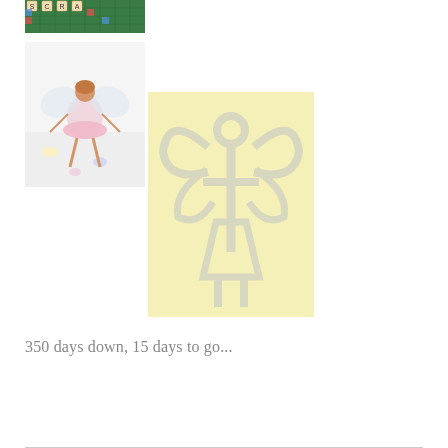[Figure (photo): Scrabble board game tiles photo]
[Figure (photo): Fairy/mouse figurine with pink tutu and paper wings on white surface with small decorations]
[Figure (photo): Yellow card or paper with white angel/fairy silhouette outline sticker]
350 days down, 15 days to go...